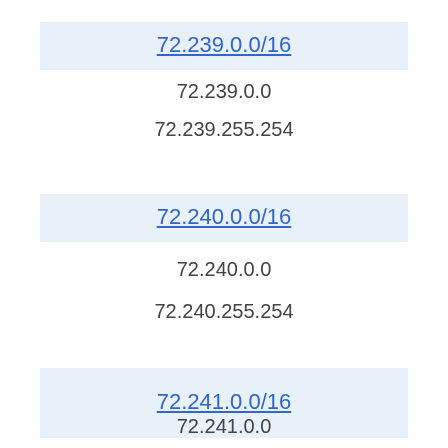72.239.0.0/16
72.239.0.0
72.239.255.254
72.240.0.0/16
72.240.0.0
72.240.255.254
72.241.0.0/16
72.241.0.0
72.241.255.254